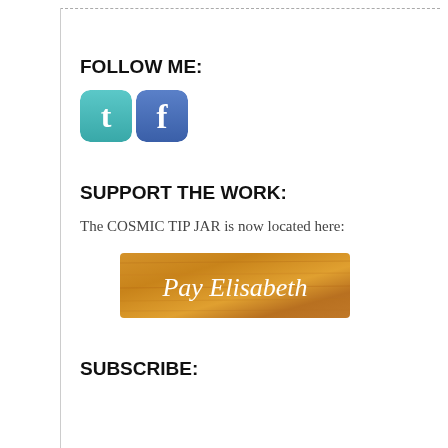FOLLOW ME:
[Figure (logo): Twitter and Facebook social media icon buttons (teal Twitter bird icon and blue Facebook 'f' icon)]
SUPPORT THE WORK:
The COSMIC TIP JAR is now located here:
[Figure (illustration): Pay Elisabeth button with wooden/gold texture background and white serif text]
SUBSCRIBE: